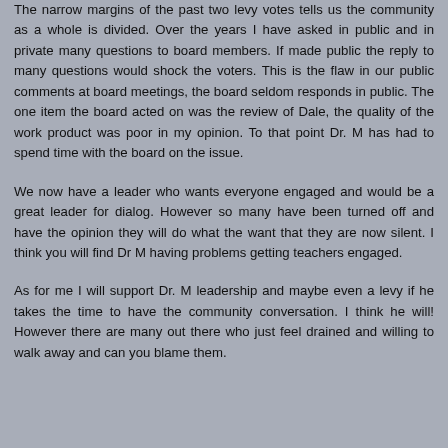The narrow margins of the past two levy votes tells us the community as a whole is divided. Over the years I have asked in public and in private many questions to board members. If made public the reply to many questions would shock the voters. This is the flaw in our public comments at board meetings, the board seldom responds in public. The one item the board acted on was the review of Dale, the quality of the work product was poor in my opinion. To that point Dr. M has had to spend time with the board on the issue.
We now have a leader who wants everyone engaged and would be a great leader for dialog. However so many have been turned off and have the opinion they will do what the want that they are now silent. I think you will find Dr M having problems getting teachers engaged.
As for me I will support Dr. M leadership and maybe even a levy if he takes the time to have the community conversation. I think he will! However there are many out there who just feel drained and willing to walk away and can you blame them.